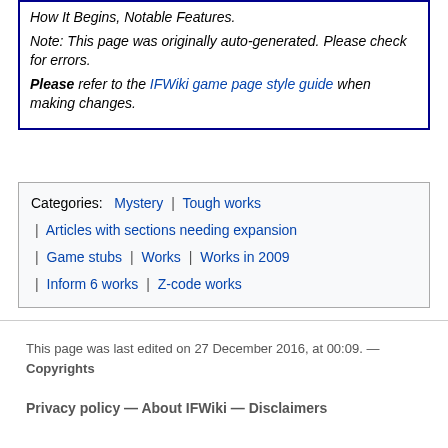How It Begins, Notable Features. Note: This page was originally auto-generated. Please check for errors. Please refer to the IFWiki game page style guide when making changes.
Categories: Mystery | Tough works | Articles with sections needing expansion | Game stubs | Works | Works in 2009 | Inform 6 works | Z-code works
This page was last edited on 27 December 2016, at 00:09. — Copyrights
Privacy policy — About IFWiki — Disclaimers